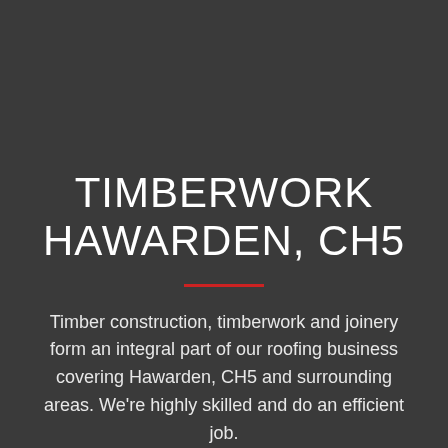TIMBERWORK HAWARDEN, CH5
Timber construction, timberwork and joinery form an integral part of our roofing business covering Hawarden, CH5 and surrounding areas. We're highly skilled and do an efficient job.